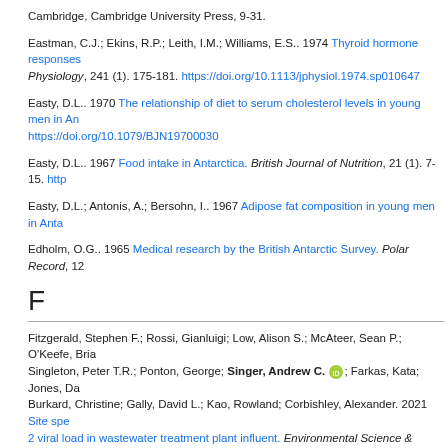Cambridge, Cambridge University Press, 9-31.
Eastman, C.J.; Ekins, R.P.; Leith, I.M.; Williams, E.S.. 1974 Thyroid hormone responses Physiology, 241 (1). 175-181. https://doi.org/10.1113/jphysiol.1974.sp010647
Easty, D.L.. 1970 The relationship of diet to serum cholesterol levels in young men in An https://doi.org/10.1079/BJN19700030
Easty, D.L.. 1967 Food intake in Antarctica. British Journal of Nutrition, 21 (1). 7-15. http
Easty, D.L.; Antonis, A.; Bersohn, I.. 1967 Adipose fat composition in young men in Anta
Edholm, O.G.. 1965 Medical research by the British Antarctic Survey. Polar Record, 12
F
Fitzgerald, Stephen F.; Rossi, Gianluigi; Low, Alison S.; McAteer, Sean P.; O'Keefe, Bria; Singleton, Peter T.R.; Ponton, George; Singer, Andrew C. [ORCID]; Farkas, Kata; Jones, Da; Burkard, Christine; Gally, David L.; Kao, Rowland; Corbishley, Alexander. 2021 Site spe 2 viral load in wastewater treatment plant influent. Environmental Science & Technology. https://doi.org/10.1021/acs.est.1c05029
Farkas, Kata; Marshall, Miles; Cooper, David; McDonald, James E.; Malham, Shelagh. 2018 Seasonal and diurnal surveillance of treated and untreated wastewater for human Research, 25 (33). 33391-33401. https://doi.org/10.1007/s11356-018-3261-y